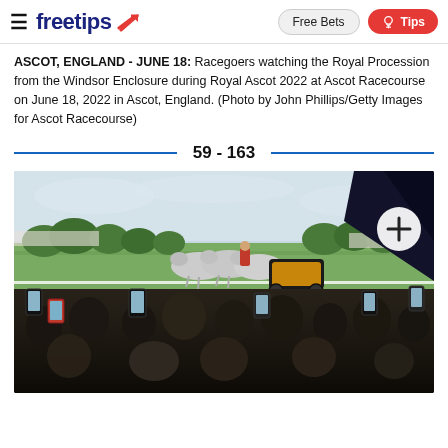freetips — Free Bets | Tips
ASCOT, ENGLAND - JUNE 18: Racegoers watching the Royal Procession from the Windsor Enclosure during Royal Ascot 2022 at Ascot Racecourse on June 18, 2022 in Ascot, England. (Photo by John Phillips/Getty Images for Ascot Racecourse)
59 - 163
[Figure (photo): Racegoers at Royal Ascot 2022 holding up phones to photograph the Royal Procession with horse-drawn carriages on the racecourse. A dark umbrella is visible in the top-right corner with a white circle plus button overlay.]